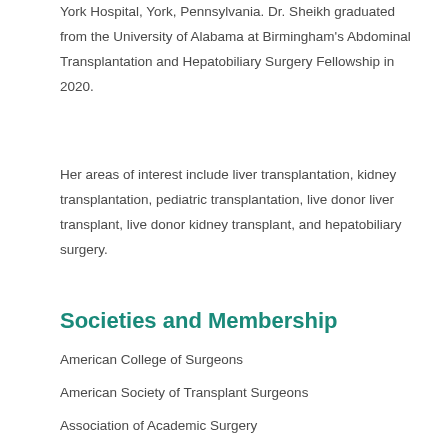York Hospital, York, Pennsylvania. Dr. Sheikh graduated from the University of Alabama at Birmingham's Abdominal Transplantation and Hepatobiliary Surgery Fellowship in 2020.
Her areas of interest include liver transplantation, kidney transplantation, pediatric transplantation, live donor liver transplant, live donor kidney transplant, and hepatobiliary surgery.
Societies and Membership
American College of Surgeons
American Society of Transplant Surgeons
Association of Academic Surgery